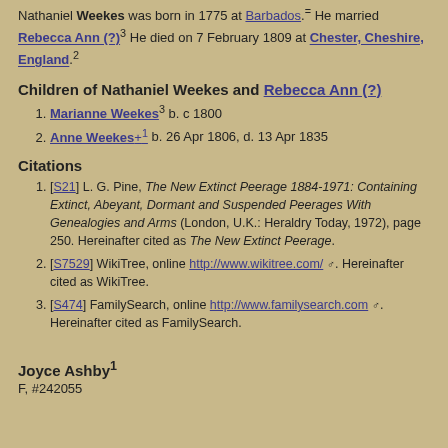Nathaniel Weekes was born in 1775 at Barbados. He married Rebecca Ann (?)³ He died on 7 February 1809 at Chester, Cheshire, England.²
Children of Nathaniel Weekes and Rebecca Ann (?)
Marianne Weekes³ b. c 1800
Anne Weekes+¹ b. 26 Apr 1806, d. 13 Apr 1835
Citations
[S21] L. G. Pine, The New Extinct Peerage 1884-1971: Containing Extinct, Abeyant, Dormant and Suspended Peerages With Genealogies and Arms (London, U.K.: Heraldry Today, 1972), page 250. Hereinafter cited as The New Extinct Peerage.
[S7529] WikiTree, online http://www.wikitree.com/. Hereinafter cited as WikiTree.
[S474] FamilySearch, online http://www.familysearch.com. Hereinafter cited as FamilySearch.
Joyce Ashby¹
F, #242055